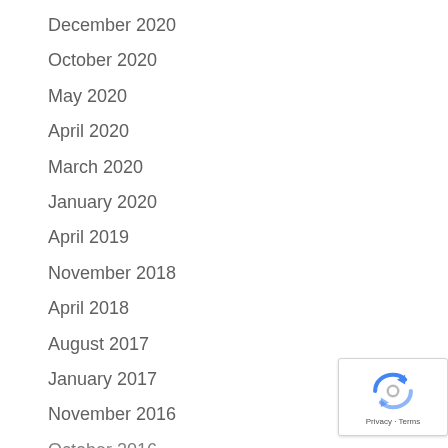December 2020
October 2020
May 2020
April 2020
March 2020
January 2020
April 2019
November 2018
April 2018
August 2017
January 2017
November 2016
October 2016